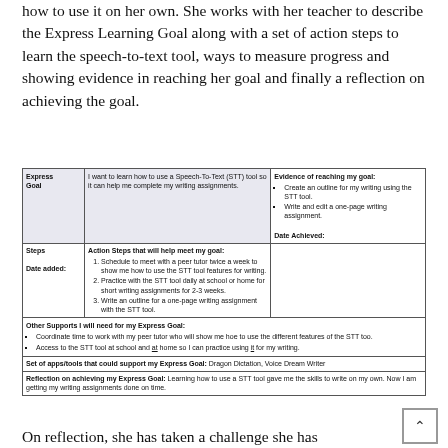how to use it on her own. She works with her teacher to describe the Express Learning Goal along with a set of action steps to learn the speech-to-text tool, ways to measure progress and showing evidence in reaching her goal and finally a reflection on achieving the goal.
| Express Goal | Action Steps / Goal description | Evidence of reaching my goal |
| --- | --- | --- |
| Express Goal | I want to learn how to use a Speech-To-Text (STT) tool so it can help me complete my writing assignments. | Evidence of reaching my goal:
• Create an outline for my writing using the STT tool.
• Write and edit a one-page writing assignment.
Date Achieved: |
| Steps
Date added: | Action Steps that will help meet my goal:
1. Schedule to meet with a peer tutor twice a week to show me how to use the STT tool features for writing.
2. Practice with the STT tool daily at school or home for short writing assignments for 2-3 weeks.
3. Write an outline for a one-page writing assignment with the STT tool. |  |
| Other Supports I will need for my Express Goal:
• Coordinate time to work with my peer tutor who will show me hoe to use the different features of the STT too.
• Access to the STT tool at school and at home so I can practice using it for my writing. |  |  |
| Set of apps/tools that could support my Express Goal: Dragon Dictation, Voice Dream Writer |  |  |
| Reflection on achieving my Express Goal: Learning how to use a STT tool gave me the skills to write on my own. Now I am getting my writing assignments done on time. |  |  |
On reflection, she has taken a challenge she has